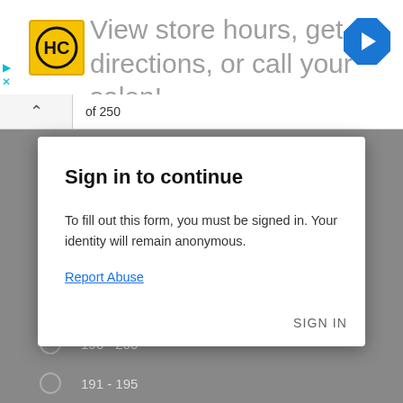[Figure (screenshot): Ad banner with HC (Hair Club) logo, text 'View store hours, get directions, or call your salon!' and a blue navigation arrow icon]
of 250
Sign in to continue
To fill out this form, you must be signed in. Your identity will remain anonymous.
Report Abuse
SIGN IN
201 - 205
196 - 200
191 - 195